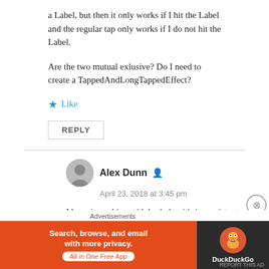a Label, but then it only works if I hit the Label and the regular tap only works if I do not hit the Label.
Are the two mutual exlusive? Do I need to create a TappedAndLongTappedEffect?
★ Like
REPLY
Alex Dunn
April 23, 2018 at 3:45 pm
I have it working with both, but it's inconsistent for Android (some devices and some versions of the OS are
Advertisements
[Figure (infographic): DuckDuckGo advertisement banner: orange background with text 'Search, browse, and email with more privacy. All in One Free App' and DuckDuckGo logo on dark background.]